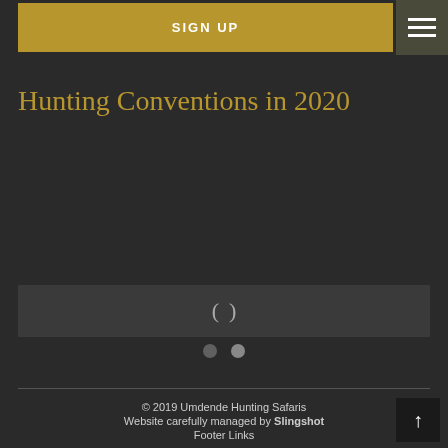SIGN UP
Hunting Conventions in 2020
[Figure (other): Slideshow navigation area with left/right parenthesis arrows and two navigation dots below]
© 2019 Umdende Hunting Safaris
Website carefully managed by Slingshot
Footer Links